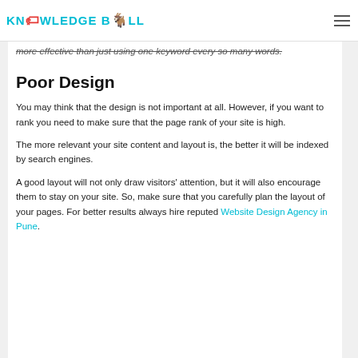KNOWLEDGE BULL
more effective than just using one keyword every so many words.
Poor Design
You may think that the design is not important at all. However, if you want to rank you need to make sure that the page rank of your site is high.
The more relevant your site content and layout is, the better it will be indexed by search engines.
A good layout will not only draw visitors' attention, but it will also encourage them to stay on your site. So, make sure that you carefully plan the layout of your pages. For better results always hire reputed Website Design Agency in Pune.